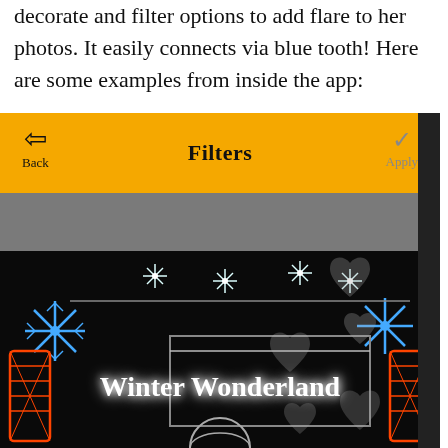decorate and filter options to add flare to her photos. It easily connects via blue tooth! Here are some examples from inside the app:
[Figure (screenshot): Mobile app screenshot showing a 'Filters' interface with a yellow/gold header bar containing a back arrow labeled 'Back' on the left, 'Filters' title in the center, and a checkmark labeled 'Apply' on the right. Below the header is a gray band, followed by a dark photo of a Winter Wonderland Christmas lights display with heart-shaped filter overlays.]